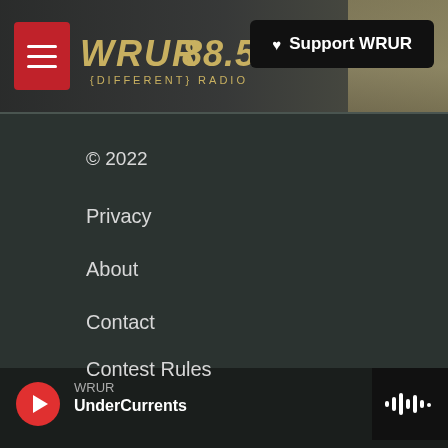WRUR 88.5 {DIFFERENT} RADIO — Support WRUR
© 2022
Privacy
About
Contact
Contest Rules
FCC Public File
WXXI Public Media
WRUR UnderCurrents